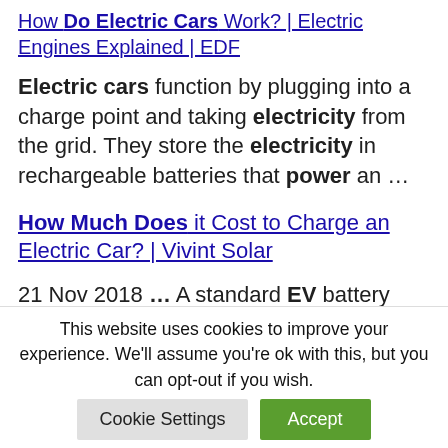How Do Electric Cars Work? | Electric Engines Explained | EDF
Electric cars function by plugging into a charge point and taking electricity from the grid. They store the electricity in rechargeable batteries that power an …
How Much Does it Cost to Charge an Electric Car? | Vivint Solar
21 Nov 2018 … A standard EV battery
This website uses cookies to improve your experience. We'll assume you're ok with this, but you can opt-out if you wish.
Cookie Settings | Accept